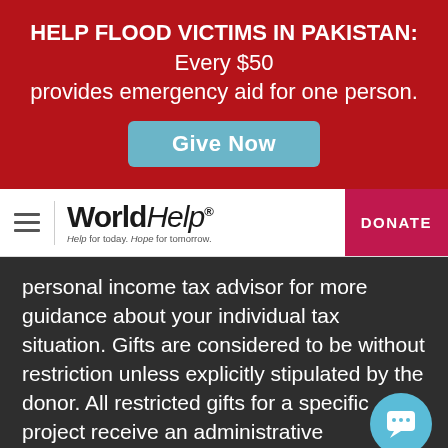[Figure (infographic): Red banner with text: HELP FLOOD VICTIMS IN PAKISTAN: Every $50 provides emergency aid for one person. With a blue 'Give Now' button.]
[Figure (logo): World Help logo with hamburger menu on the left, World Help wordmark in center, and red DONATE button on the right.]
personal income tax advisor for more guidance about your individual tax situation. Gifts are considered to be without restriction unless explicitly stipulated by the donor. All restricted gifts for a specific project receive an administrative assessment, which is used to offset administrative and fundraising costs.
If contributed funds exceed the specific needs of a project, or due to unforeseen circumstances the project cannot be